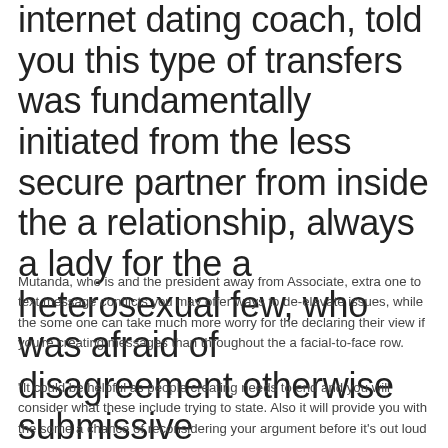internet dating coach, told you this type of transfers was fundamentally initiated from the less secure partner from inside the a relationship, always a lady for the a heterosexual few, who was afraid of disagreement otherwise submissive
Mutanda, who is and the president away from Associate, extra one to text message conflicts you may offer ways to de-elevate issues, while the some one can take much more worry for the declaring their view if you're creating messages than throughout the a facial-to-face row.
“It could be helpful as people creating needs to end and you will consider what these include trying to state. Also it will provide you with the some a chance of reconsidering your argument before it’s out loud